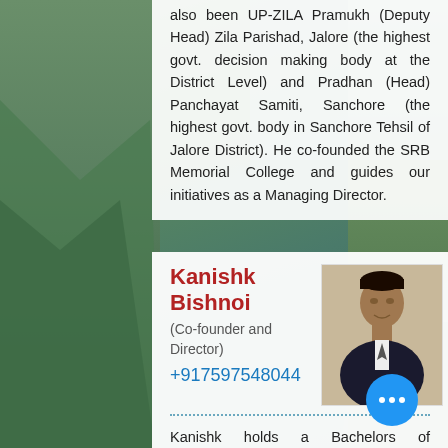also been UP-ZILA Pramukh (Deputy Head) Zila Parishad, Jalore (the highest govt. decision making body at the District Level) and Pradhan (Head) Panchayat Samiti, Sanchore (the highest govt. body in Sanchore Tehsil of Jalore District). He co-founded the SRB Memorial College and guides our initiatives as a Managing Director.
Kanishk Bishnoi
(Co-founder and Director)
+917597548044
[Figure (photo): Headshot photo of Kanishk Bishnoi, a young man in a dark suit]
Kanishk holds a Bachelors of Computing (Honours) degree in Information Systems from the National University of Singapore (NUS). He was awarded a scholarship (PSA Scholarship) for undergraduate studies based on